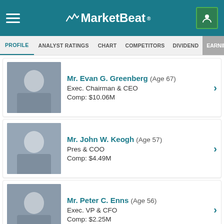MarketBeat
PROFILE | ANALYST RATINGS | CHART | COMPETITORS | DIVIDEND | EARNINGS
Mr. Evan G. Greenberg (Age 67) – Exec. Chairman & CEO – Comp: $10.06M
Mr. John W. Keogh (Age 57) – Pres & COO – Comp: $4.49M
Mr. Peter C. Enns (Age 56) – Exec. VP & CFO – Comp: $2.25M
Mr. John Joseph Lupica (Age 56) – Vice Chairman of Chubb Group & Pres of North America Insurance Operations – Comp: $4.02M